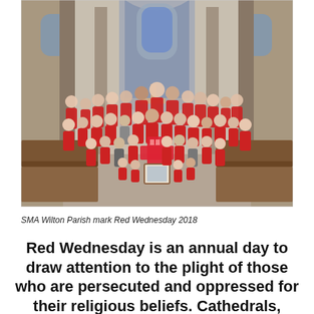[Figure (photo): Group photo inside a Catholic church. A large group of children and adults wearing red uniforms/tracksuits are gathered in the nave of the church in front of the altar. A red cross made of candles or boxes is visible in the center foreground. Church pews are visible on both sides. Stained glass windows and arches are visible in the background.]
SMA Wilton Parish mark Red Wednesday 2018
Red Wednesday is an annual day to draw attention to the plight of those who are persecuted and oppressed for their religious beliefs. Cathedrals, churches and public buildings around the world will